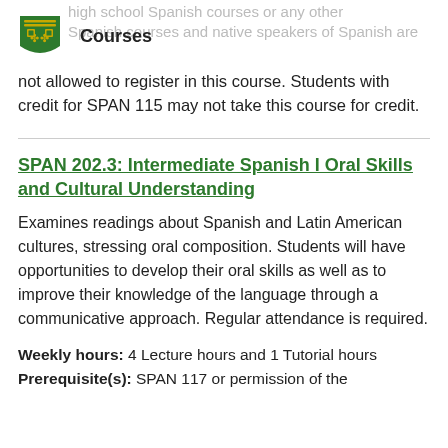Courses
high school Spanish courses or any other Spanish courses and native speakers of Spanish are not allowed to register in this course. Students with credit for SPAN 115 may not take this course for credit.
SPAN 202.3: Intermediate Spanish I Oral Skills and Cultural Understanding
Examines readings about Spanish and Latin American cultures, stressing oral composition. Students will have opportunities to develop their oral skills as well as to improve their knowledge of the language through a communicative approach. Regular attendance is required.
Weekly hours: 4 Lecture hours and 1 Tutorial hours
Prerequisite(s): SPAN 117 or permission of the